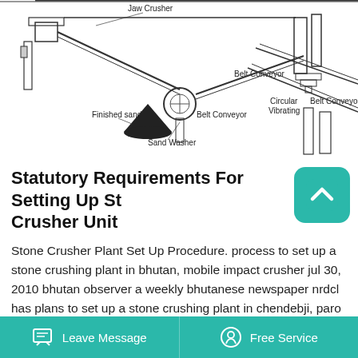[Figure (schematic): Engineering schematic of a stone crushing plant showing Jaw Crusher, Belt Conveyors, Sand Washer, Circular Vibrating screen, and Finished sand pile with labeled components.]
Statutory Requirements For Setting Up Stone Crusher Unit
Stone Crusher Plant Set Up Procedure. process to set up a stone crushing plant in bhutan, mobile impact crusher jul 30, 2010 bhutan observer a weekly bhutanese newspaper nrdcl has plans to set up a stone crushing plant in chendebji, paro or haa and one cultural affairs to review the rules and
Leave Message   Free Service